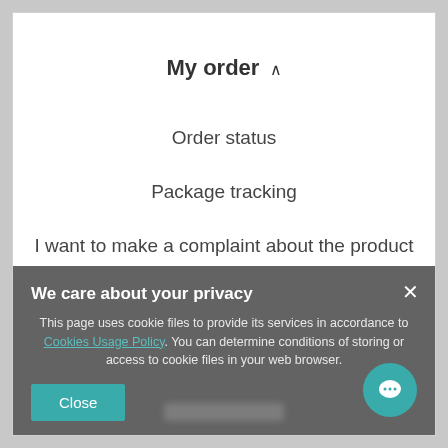My order ^
Order status
Package tracking
I want to make a complaint about the product
I want to return the product
I want to exchange the product
We care about your privacy
This page uses cookie files to provide its services in accordance to Cookies Usage Policy. You can determine conditions of storing or access to cookie files in your web browser.
Close